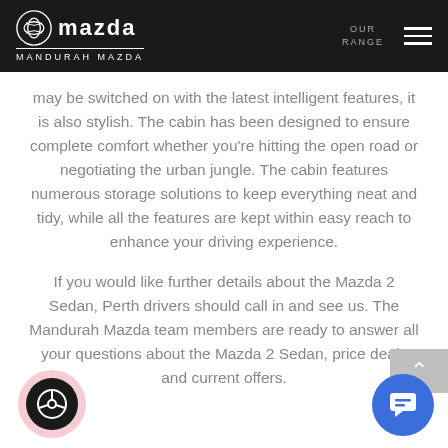MANDURAH MAZDA — OUR RANGE
may be switched on with the latest intelligent features, it is also stylish. The cabin has been designed to ensure complete comfort whether you're hitting the open road or negotiating the urban jungle. The cabin features numerous storage solutions to keep everything neat and tidy, while all the features are kept within easy reach to enhance your driving experience.
If you would like further details about the Mazda 2 Sedan, Perth drivers should call in and see us. The Mandurah Mazda team members are ready to answer all your questions about the Mazda 2 Sedan, price deals and current offers.